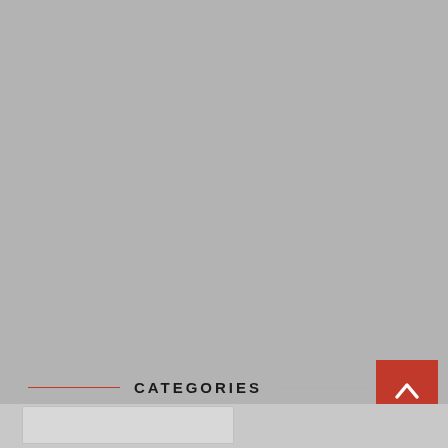[Figure (other): Large gray placeholder image area covering most of the page]
CATEGORIES
[Figure (other): Red square button with white upward chevron arrow in bottom right corner]